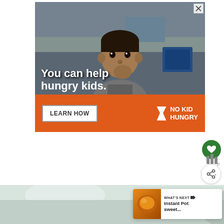[Figure (photo): Advertisement for No Kid Hungry showing a young boy eating in a classroom. Text overlay reads 'You can help hungry kids.' with an orange bar at bottom containing 'LEARN HOW' button and No Kid Hungry logo.]
[Figure (photo): Bottom portion of a food photo partially visible, with a 'What's Next' widget showing 'Instant Pot sweet...' and a thumbnail of what appears to be sweet potato dish.]